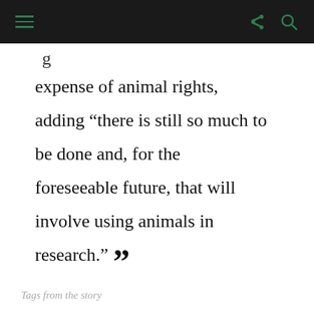[navigation bar with hamburger menu, share icon, search icon]
expense of animal rights, adding “there is still so much to be done and, for the foreseeable future, that will involve using animals in research.” ””
Tags from the story